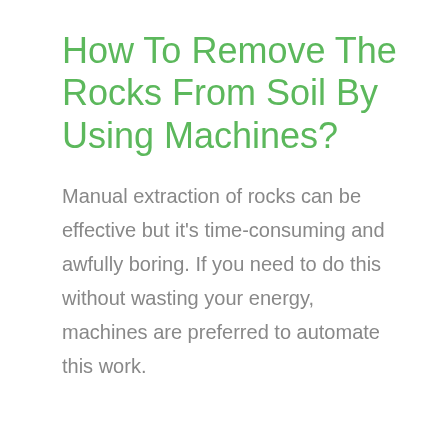How To Remove The Rocks From Soil By Using Machines?
Manual extraction of rocks can be effective but it's time-consuming and awfully boring. If you need to do this without wasting your energy, machines are preferred to automate this work.